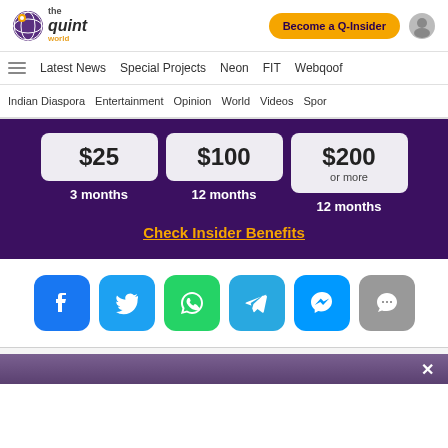[Figure (logo): The Quint World logo - purple/yellow globe icon with text 'the quint world']
Become a Q-Insider
Latest News  Special Projects  Neon  FIT  Webqoof
Indian Diaspora  Entertainment  Opinion  World  Videos  Spor
$25  3 months
$100  12 months
$200 or more  12 months
Check Insider Benefits
[Figure (infographic): Six social media share buttons: Facebook, Twitter, WhatsApp, Telegram, Messenger, Comments]